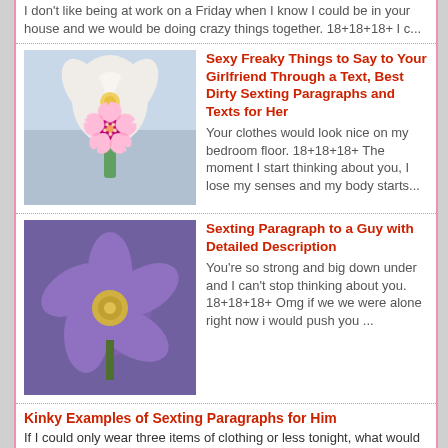I don't like being at work on a Friday when I know I could be in your house and we would be doing crazy things together. 18+18+18+ I c...
Sexy Freaky Things to Say to Your Girlfriend Through a Text, Best Dirty Sexting Paragraphs and Texts for Her — Your clothes would look nice on my bedroom floor. 18+18+18+ The moment I start thinking about you, I lose my senses and my body starts...
Sexting Paragraph to a Guy with Detailed Description — You're so strong and big down under and I can't stop thinking about you. 18+18+18+ Omg if we we were alone right now i would push you ...
Kinky Examples of Sexting Paragraphs for Him — If I could only wear three items of clothing or less tonight, what would you choose for me? 18+18+18+ When I see you I am going to rip...
BE MORE DECISIVE, ENCOURAGING EFFORT QUOTES: BE MORE DECISIVE — Motivational Quotes About Effort and Love: Try a Little Harder Those of you, who are wondering if it is worth to put in the greater ef...